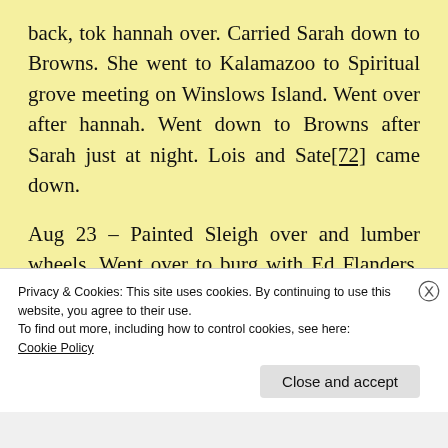back, tok hannah over. Carried Sarah down to Browns. She went to Kalamazoo to Spiritual grove meeting on Winslows Island. Went over after hannah. Went down to Browns after Sarah just at night. Lois and Sate[72] came down.
Aug 23 – Painted Sleigh over and lumber wheels. Went over to burg with Ed Flanders. Got $51.91 of Treasurer. Paid Carrie E. Austin fifty one Dollars
Privacy & Cookies: This site uses cookies. By continuing to use this website, you agree to their use.
To find out more, including how to control cookies, see here:
Cookie Policy